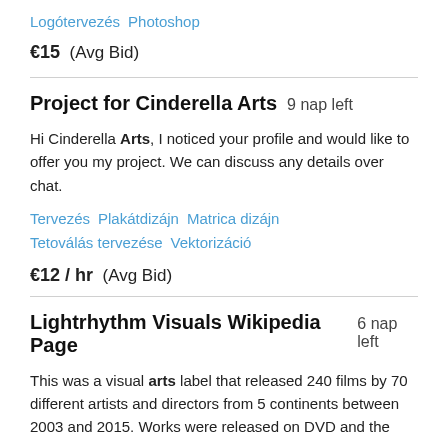Logótervezés  Photoshop
€15  (Avg Bid)
Project for Cinderella Arts  9 nap left
Hi Cinderella Arts, I noticed your profile and would like to offer you my project. We can discuss any details over chat.
Tervezés  Plakátdizájn  Matrica dizájn  Tetoválás tervezése  Vektorizáció
€12 / hr  (Avg Bid)
Lightrhythm Visuals Wikipedia Page  6 nap left
This was a visual arts label that released 240 films by 70 different artists and directors from 5 continents between 2003 and 2015. Works were released on DVD and the